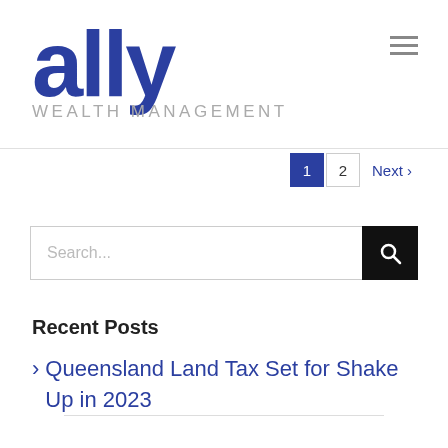ally WEALTH MANAGEMENT
1  2  Next >
Search...
Recent Posts
Queensland Land Tax Set for Shake Up in 2023